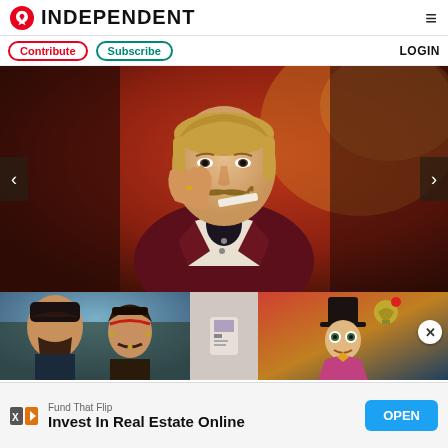INDEPENDENT
Contribute  Subscribe  LOGIN
[Figure (photo): Actor with blond hair, handlebar mustache, wearing maroon jacket and white shirt, posed with hand raised near face, against warm reddish background]
[Figure (photo): Two men in period pirate costumes, thumbnail from Pirates of the Caribbean]
[Figure (photo): Person in colorful costume with top hat, thumbnail from Charlie and the Chocolate Factory]
Fund That Flip
Invest In Real Estate Online
OPEN